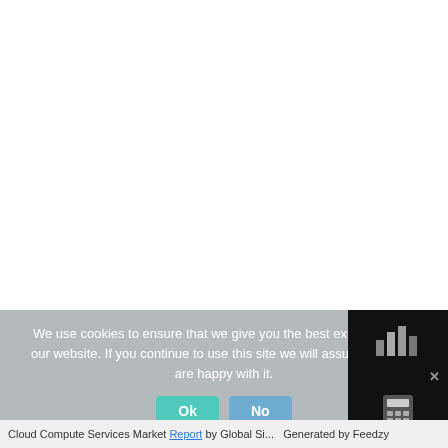[Figure (screenshot): White blank area representing a website page content area above the cookie consent banner.]
We use cookies to ensure that we give you the best experience on our website. If you continue to use this site we will assume that you are happy with it.
[Figure (screenshot): Cookie consent buttons: 'Ok' (teal) and 'No' (blue), and a Feedzy widget panel on the right with bar chart icon, close X, and calculator icon.]
Cloud Compute Services Market Report by Global Si... Generated by Feedzy